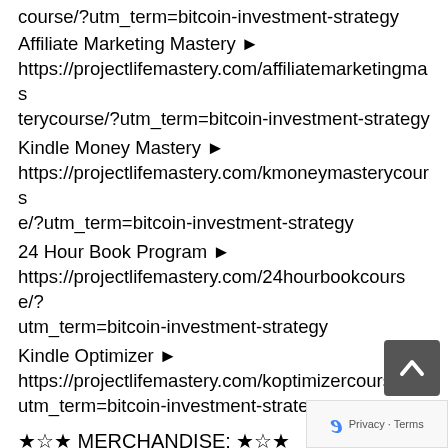course/?utm_term=bitcoin-investment-strategy
Affiliate Marketing Mastery ▶ https://projectlifemastery.com/affiliatemarketingmasterycourse/?utm_term=bitcoin-investment-strategy
Kindle Money Mastery ▶ https://projectlifemastery.com/kmoneymasterycourse/?utm_term=bitcoin-investment-strategy
24 Hour Book Program ▶ https://projectlifemastery.com/24hourbookcourse/?utm_term=bitcoin-investment-strategy
Kindle Optimizer ▶ https://projectlifemastery.com/koptimizercourse/?utm_term=bitcoin-investment-strategy
★☆★ MERCHANDISE: ★☆★